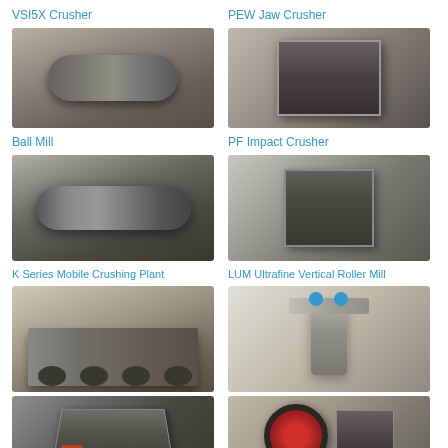VSI5X Crusher
PEW Jaw Crusher
[Figure (photo): VSI5X Crusher - large cylindrical industrial crusher machine in warehouse setting]
[Figure (photo): PEW Jaw Crusher - heavy industrial jaw crusher machine on factory floor]
Ball Mill
PF Impact Crusher
[Figure (photo): Ball Mill - large horizontal cylindrical grinding mill machine]
[Figure (photo): PF Impact Crusher - large box-shaped impact crusher industrial machine]
K Series Mobile Crushing Plant
LUM Ultrafine Vertical Roller Mill
[Figure (photo): K Series Mobile Crushing Plant - mobile crushing plant on wheeled trailer in factory]
[Figure (photo): LUM Ultrafine Vertical Roller Mill - vertical roller mill with mechanical arms and blue motors]
[Figure (photo): Industrial crusher machine component - close up of heavy metal parts with red hydraulics]
[Figure (photo): Jaw crusher - industrial machine with large red circular flywheel visible]